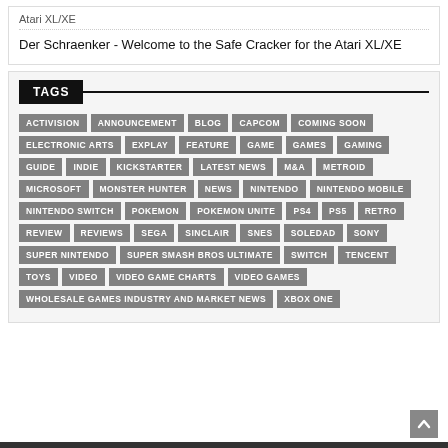Atari XL/XE
Der Schraenker - Welcome to the Safe Cracker for the Atari XL/XE
TAGS
ACTIVISION
ANNOUNCEMENT
BLOG
CAPCOM
COMING SOON
ELECTRONIC ARTS
EXPLAY
FEATURE
GAME
GAMES
GAMING
GUIDE
INDIE
KICKSTARTER
LATEST NEWS
M&A
METROID
MICROSOFT
MONSTER HUNTER
NEWS
NINTENDO
NINTENDO MOBILE
NINTENDO SWITCH
POKEMON
POKEMON UNITE
PS4
PS5
RETRO
REVIEW
REVIEWS
SEGA
SINCLAIR
SNES
SOLEDAD
SONY
SUPER NINTENDO
SUPER SMASH BROS ULTIMATE
SWITCH
TENCENT
TOYS
VIDEO
VIDEO GAME CHARTS
VIDEO GAMES
WHOLESALE GAMES INDUSTRY AND MARKET NEWS
XBOX ONE